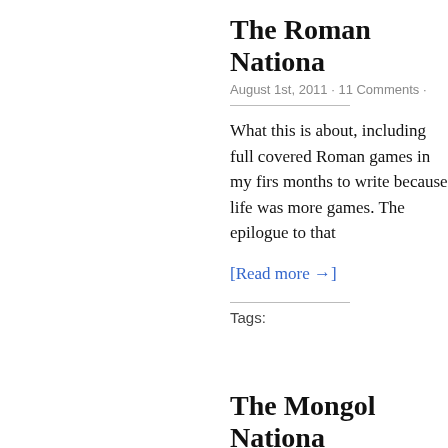The Roman Nationa
August 1st, 2011 · 11 Comments ·
What this is about, including full covered Roman games in my firs months to write because life was more games. The epilogue to that
[Read more →]
Tags:
The Mongol Nationa
July 30th, 2011 · 18 Comments · Fe